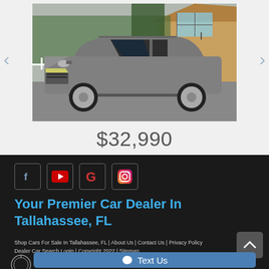[Figure (photo): Gray Infiniti QX80 SUV parked in front of a wooden building with trees in background]
$32,990
[Figure (infographic): Social media icons: Facebook, YouTube, Google, Instagram]
Your Premier Car Dealer In Tallahassee, FL
Shop Cars For Sale In Tallahassee, FL | About Us | Contact Us | Privacy Policy Dealer Car Search Login | Copyright 2022 | Sitemap
Text Us